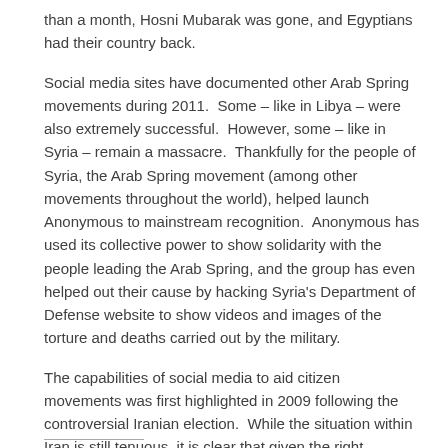than a month, Hosni Mubarak was gone, and Egyptians had their country back.
Social media sites have documented other Arab Spring movements during 2011.  Some – like in Libya – were also extremely successful.  However, some – like in Syria – remain a massacre.  Thankfully for the people of Syria, the Arab Spring movement (among other movements throughout the world), helped launch Anonymous to mainstream recognition.  Anonymous has used its collective power to show solidarity with the people leading the Arab Spring, and the group has even helped out their cause by hacking Syria's Department of Defense website to show videos and images of the torture and deaths carried out by the military.
The capabilities of social media to aid citizen movements was first highlighted in 2009 following the controversial Iranian election.  While the situation within Iran is still tenuous, it is clear that given the right circumstances, social media and technology can help deliver freedom to people across the world.
For giving people hope, the use of social media in the Arab Spring movement is the number one tech story for 2011.